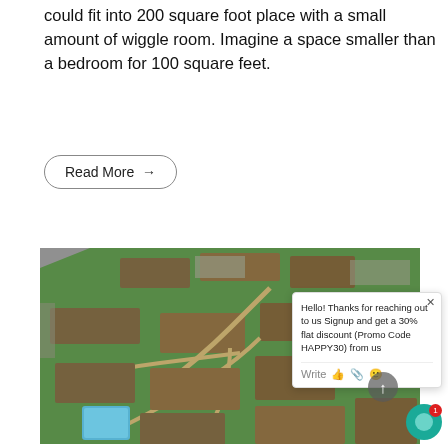could fit into 200 square foot place with a small amount of wiggle room. Imagine a space smaller than a bedroom for 100 square feet.
Read More →
[Figure (photo): Aerial view of an apartment complex with multiple brown-roofed buildings, green lawns, curved pathways, parking areas, and a swimming pool in the lower left.]
Hello! Thanks for reaching out to us Signup and get a 30% flat discount (Promo Code HAPPY30) from us